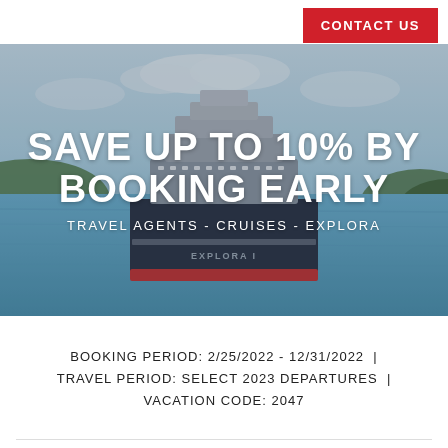CONTACT US
[Figure (photo): Front view of the Explora I luxury cruise ship on calm blue water with green hills in the background. Large bold white text overlaid: SAVE UP TO 10% BY BOOKING EARLY, with subtitle TRAVEL AGENTS - CRUISES - EXPLORA]
BOOKING PERIOD: 2/25/2022 - 12/31/2022  |
TRAVEL PERIOD: SELECT 2023 DEPARTURES  |
VACATION CODE: 2047